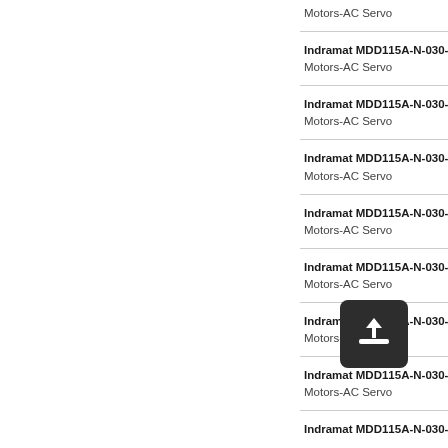Motors-AC Servo
Indramat MDD115A-N-030-N
Motors-AC Servo
Indramat MDD115A-N-030-N
Motors-AC Servo
Indramat MDD115A-N-030-N
Motors-AC Servo
Indramat MDD115A-N-030-N
Motors-AC Servo
Indramat MDD115A-N-030-N
Motors-AC Servo
Indramat MDD115A-N-030-N
Motors-AC Servo
Indramat MDD115A-N-030-N
Motors-AC Servo
Indramat MDD115A-N-030-N